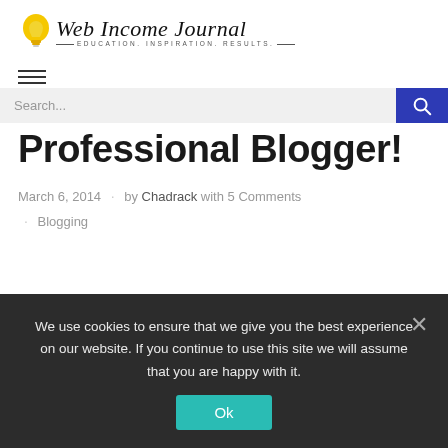[Figure (logo): Web Income Journal logo with light bulb icon and tagline EDUCATION. INSPIRATION. RESULTS.]
Professional Blogger!
March 6, 2014 · by Chadrack with 5 Comments · Blogging
We use cookies to ensure that we give you the best experience on our website. If you continue to use this site we will assume that you are happy with it.